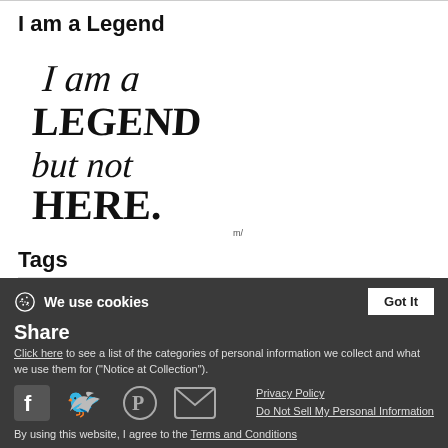I am a Legend
[Figure (illustration): Handwritten text reading 'I am a Legend but not HERE.' in stylized calligraphy/brush lettering on white background]
Tags
Legend   3   legendary
Share
We use cookies
Click here to see a list of the categories of personal information we collect and what we use them for ("Notice at Collection").
Privacy Policy
Do Not Sell My Personal Information
By using this website, I agree to the Terms and Conditions